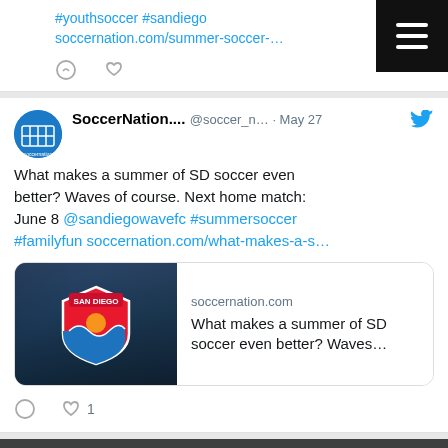#youthsoccer #sandiego soccernation.com/summer-soccer-…
[Figure (screenshot): Menu icon button (three horizontal white lines on black background)]
[Figure (screenshot): Twitter/social media post by SoccerNation... @soccer_n... · May 27. Text: What makes a summer of SD soccer even better? Waves of course. Next home match: June 8 @sandiegowavefc #summersoccer #familyfun soccernation.com/what-makes-a-s… with a link preview card for soccernation.com showing San Diego Wave FC logo. 1 like.]
[Figure (photo): Grayscale crowd/fans photo strip]
[Figure (screenshot): Dark footer section with scroll-to-top button and partial orange logo icons at bottom]